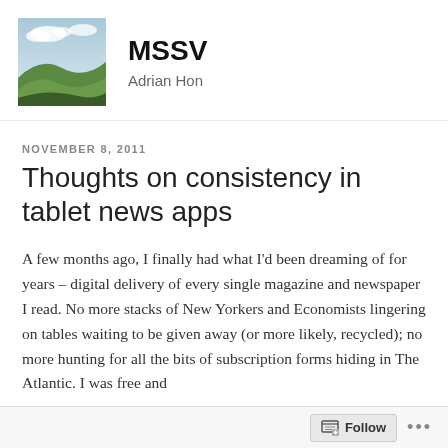[Figure (photo): Landscape photo showing green rolling hills under a partly cloudy sky]
MSSV
Adrian Hon
NOVEMBER 8, 2011
Thoughts on consistency in tablet news apps
A few months ago, I finally had what I'd been dreaming of for years – digital delivery of every single magazine and newspaper I read. No more stacks of New Yorkers and Economists lingering on tables waiting to be given away (or more likely, recycled); no more hunting for all the bits of subscription forms hiding in The Atlantic. I was free and
Follow